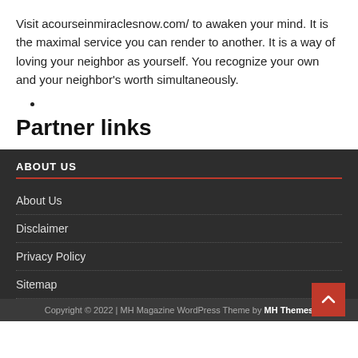Visit acourseinmiraclesnow.com/ to awaken your mind. It is the maximal service you can render to another. It is a way of loving your neighbor as yourself. You recognize your own and your neighbor's worth simultaneously.
•
Partner links
ABOUT US
About Us
Disclaimer
Privacy Policy
Sitemap
Copyright © 2022 | MH Magazine WordPress Theme by MH Themes